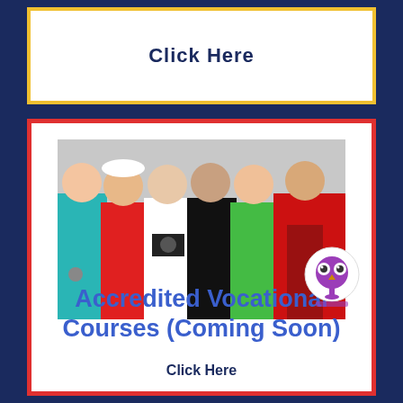Click Here
[Figure (photo): Group photo of six young professionals representing different vocations: a nurse in teal scrubs, a construction worker in red with white hard hat, a photographer in white holding a camera, a musician in black, a person in a green vest, and a chef in a red apron]
Accredited Vocational Courses (Coming Soon)
Click Here